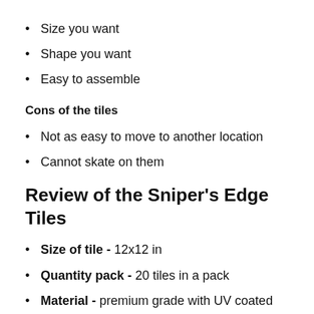Size you want
Shape you want
Easy to assemble
Cons of the tiles
Not as easy to move to another location
Cannot skate on them
Review of the Sniper's Edge Tiles
Size of tile - 12x12 in
Quantity pack - 20 tiles in a pack
Material - premium grade with UV coated protection, weatherproof coating - can be used outside on blacktop, concrete, sport court and inside in garage or basement